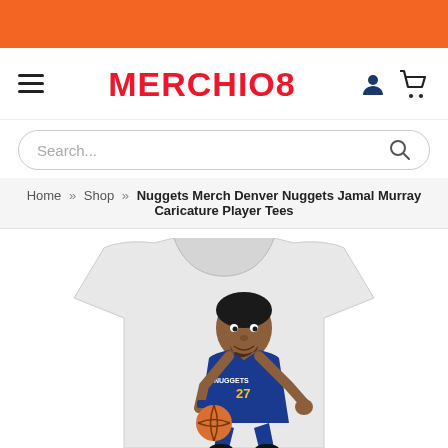MERCHIO8 - orange banner and navigation bar
Search...
Home » Shop » Nuggets Merch Denver Nuggets Jamal Murray Caricature Player Tees
[Figure (photo): White t-shirt product photo featuring a caricature illustration of Jamal Murray (Denver Nuggets #27) dribbling a basketball, wearing a blue Nuggets uniform. The caricature has an exaggerated head and is crouching in a dribbling pose.]